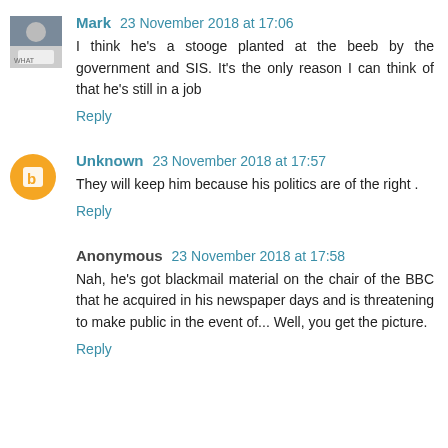Mark 23 November 2018 at 17:06
I think he's a stooge planted at the beeb by the government and SIS. It's the only reason I can think of that he's still in a job
Reply
Unknown 23 November 2018 at 17:57
They will keep him because his politics are of the right .
Reply
Anonymous 23 November 2018 at 17:58
Nah, he's got blackmail material on the chair of the BBC that he acquired in his newspaper days and is threatening to make public in the event of... Well, you get the picture.
Reply